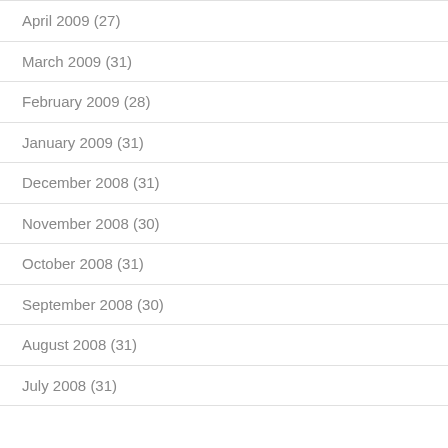April 2009 (27)
March 2009 (31)
February 2009 (28)
January 2009 (31)
December 2008 (31)
November 2008 (30)
October 2008 (31)
September 2008 (30)
August 2008 (31)
July 2008 (31)